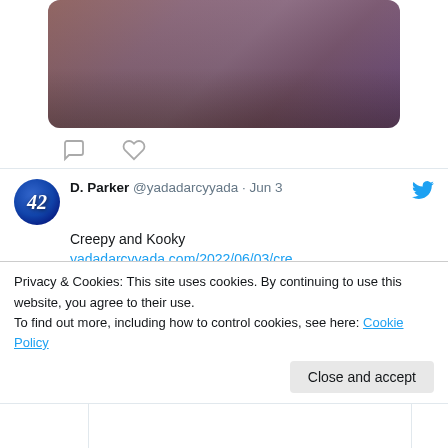[Figure (photo): Partial view of a theatrical performance photo showing performers in costumes on stage with purple lighting]
[Figure (other): Comment and heart/like icons below the photo]
D. Parker @yadadarcyyada · Jun 3
Creepy and Kooky
yadadarcyyada.com/2022/06/03/cre…
[Figure (photo): Black and white thumbnail image preview for the linked article]
Privacy & Cookies: This site uses cookies. By continuing to use this website, you agree to their use.
To find out more, including how to control cookies, see here: Cookie Policy
Close and accept